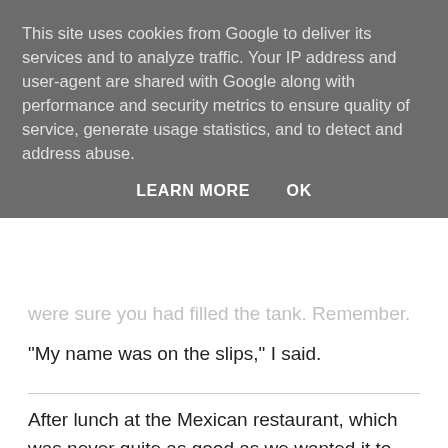This site uses cookies from Google to deliver its services and to analyze traffic. Your IP address and user-agent are shared with Google along with performance and security metrics to ensure quality of service, generate usage statistics, and to detect and address abuse.
LEARN MORE    OK
were sure you had filled the tank. Remember.
"My name was on the slips," I said.
After lunch at the Mexican restaurant, which was never quite as good as we wanted it to be, we headed home and made love. It felt good to clear my mind and let myself relax. Afterward, while Abigail, wearing only my t-shirt, pattered on bare feet to the sunroom to paint, I settled down on the couch with the book about mazes. I flipped to the section on rare designs and found myself reading about dynamic mazes, which had walls that could be repositioned